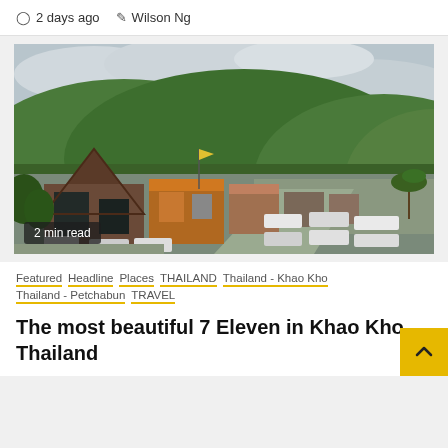2 days ago   Wilson Ng
[Figure (photo): Outdoor photo of a row of commercial buildings with A-frame roofs along a mountain road, lush green forested hills in background under overcast sky, vehicles parked along the street. 2 min read badge in lower left.]
Featured  Headline  Places  THAILAND  Thailand - Khao Kho  Thailand - Petchabun  TRAVEL
The most beautiful 7 Eleven in Khao Kho Thailand